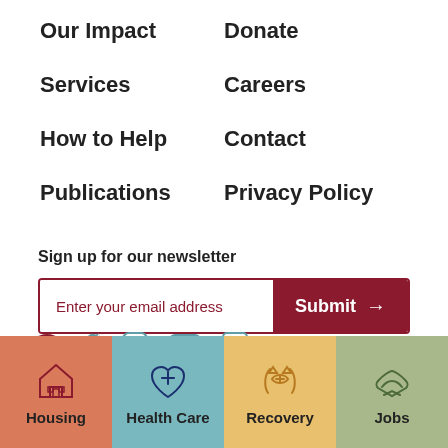Our Impact
Donate
Services
Careers
How to Help
Contact
Publications
Privacy Policy
Sign up for our newsletter
Enter your email address
Submit
[Figure (infographic): Four category tiles at the bottom: Housing (orange), Health Care (teal), Recovery (yellow), Jobs (sage green), each with an icon]
Housing
Health Care
Recovery
Jobs